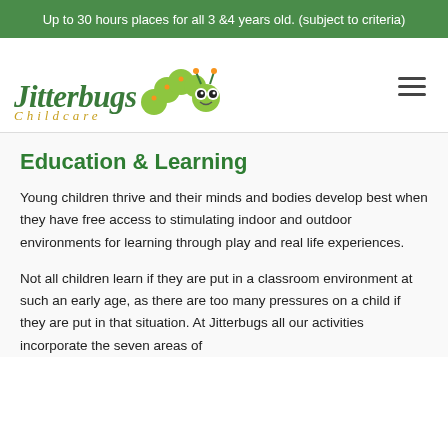Up to 30 hours places for all 3 &4 years old. (subject to criteria)
[Figure (logo): Jitterbugs Childcare logo with green caterpillar illustration, italic text 'Jitterbugs' in green and 'Childcare' in gold italic]
Education & Learning
Young children thrive and their minds and bodies develop best when they have free access to stimulating indoor and outdoor environments for learning through play and real life experiences.
Not all children learn if they are put in a classroom environment at such an early age, as there are too many pressures on a child if they are put in that situation. At Jitterbugs all our activities incorporate the seven areas of